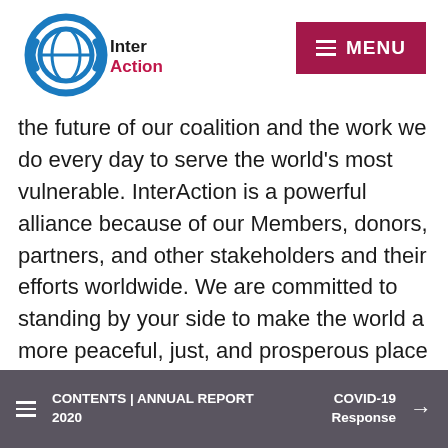[Figure (logo): InterAction logo — circular globe design in blue with 'InterAction' text]
[Figure (other): Menu button — dark pink/crimson rectangle with three horizontal lines and MENU text]
the future of our coalition and the work we do every day to serve the world's most vulnerable. InterAction is a powerful alliance because of our Members, donors, partners, and other stakeholders and their efforts worldwide. We are committed to standing by your side to make the world a more peaceful, just, and prosperous place—together.

Be well and stay safe,
CONTENTS | ANNUAL REPORT 2020   COVID-19 Response